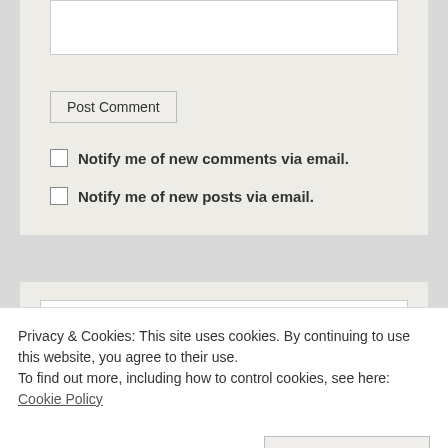[textarea/comment input box]
Post Comment
Notify me of new comments via email.
Notify me of new posts via email.
Search ...
Privacy & Cookies: This site uses cookies. By continuing to use this website, you agree to their use.
To find out more, including how to control cookies, see here: Cookie Policy
Close and accept